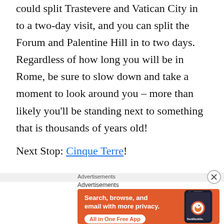could split Trastevere and Vatican City in to a two-day visit, and you can split the Forum and Palentine Hill in to two days. Regardless of how long you will be in Rome, be sure to slow down and take a moment to look around you – more than likely you'll be standing next to something that is thousands of years old!
Next Stop: Cinque Terre!
Advertisements
Advertisements
[Figure (screenshot): DuckDuckGo advertisement banner with orange background showing 'Search, browse, and email with more privacy. All in One Free App' text and a phone image with DuckDuckGo logo]